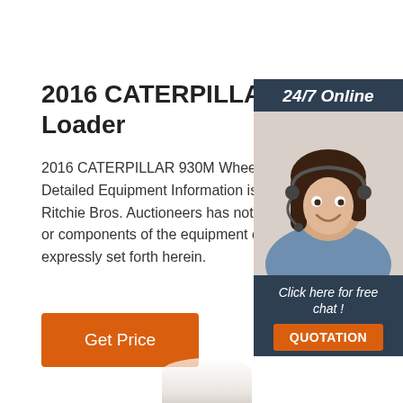2016 CATERPILLAR 930M Wheel Loader
2016 CATERPILLAR 930M Wheel Loader . Ge... Detailed Equipment Information is limited in sc... Ritchie Bros. Auctioneers has not inspected an... or components of the equipment other than th... expressly set forth herein.
[Figure (photo): Customer support representative woman with headset smiling, with '24/7 Online' header and 'Click here for free chat! QUOTATION' button below, in a dark blue sidebar widget.]
Get Price